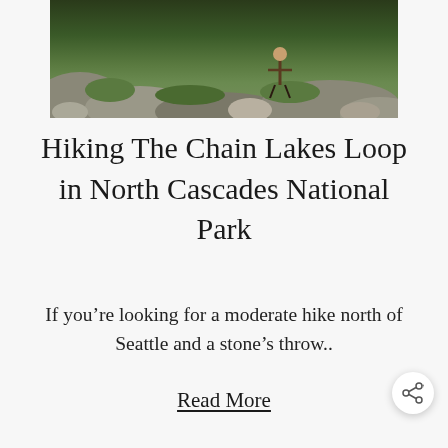[Figure (photo): Outdoor hiking scene showing rocky terrain with moss-covered rocks, green vegetation, and a hiker visible in the upper portion of the image.]
Hiking The Chain Lakes Loop in North Cascades National Park
If you're looking for a moderate hike north of Seattle and a stone's throw..
Read More